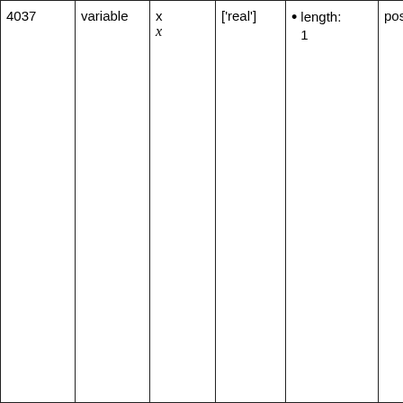| 4037 | variable | x
x | ['real'] | length: 1 | position |  |